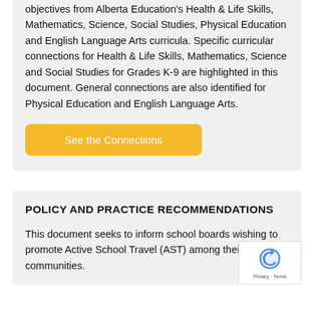objectives from Alberta Education's Health & Life Skills, Mathematics, Science, Social Studies, Physical Education and English Language Arts curricula. Specific curricular connections for Health & Life Skills, Mathematics, Science and Social Studies for Grades K-9 are highlighted in this document. General connections are also identified for Physical Education and English Language Arts.
[Figure (other): Yellow button labeled 'See the Connections']
POLICY AND PRACTICE RECOMMENDATIONS
This document seeks to inform school boards wishing to promote Active School Travel (AST) among their school communities.